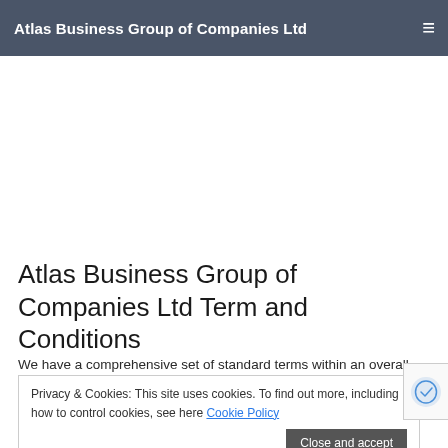Atlas Business Group of Companies Ltd
Atlas Business Group of Companies Ltd Term and Conditions
We have a comprehensive set of standard terms within an overall Framework Services Agreement covering all of the different classes of supply from those covering products and professional services, through to those governing full spectrum on-going systems management and operational support facilities covering everything from simple technical telephone-based, support up to fully-managed data centre hosted LAN/s and multi-site networking and/or IT environment management.
Privacy & Cookies: This site uses cookies. To find out more, including how to control cookies, see here Cookie Policy
Close and accept